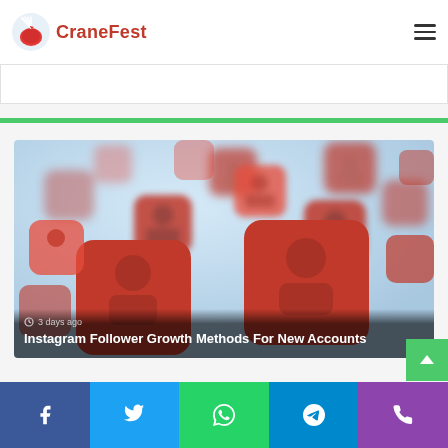CraneFest
[Figure (photo): Pile of red social media follower notification icons with person silhouette symbols on rounded square cards, scattered in a blurred pile against a light blue background]
3 days ago
Instagram Follower Growth Methods For New Accounts
Facebook | Twitter | WhatsApp | Telegram | Phone